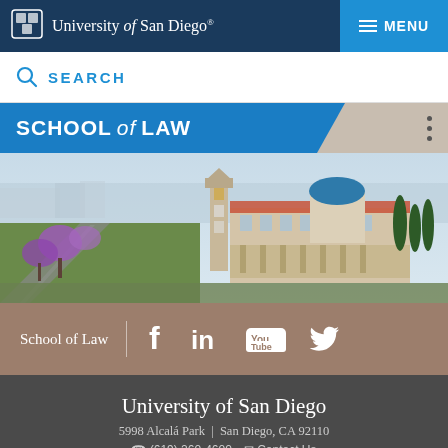University of San Diego — MENU
SEARCH
SCHOOL of LAW
[Figure (photo): Aerial view of University of San Diego campus with bell tower, blue-domed building, Spanish colonial architecture, surrounding city and hills]
School of Law | (Facebook) (LinkedIn) (YouTube) (Twitter)
University of San Diego
5998 Alcalá Park | San Diego, CA 92110
(619) 260-4600 | Contact Us